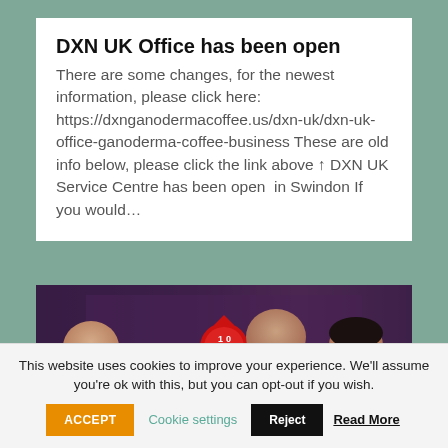DXN UK Office has been open
There are some changes, for the newest information, please click here: https://dxnganodermacoffee.us/dxn-uk/dxn-uk-office-ganoderma-coffee-business These are old info below, please click the link above ↑ DXN UK Service Centre has been open  in Swindon If you would…
[Figure (photo): Photo of people standing in front of a DXN banner/backdrop. A DXN 10th anniversary logo is visible in the center. Three people are partially visible: one on the left, one in the center (taller, bald male), and one on the right (female).]
This website uses cookies to improve your experience. We'll assume you're ok with this, but you can opt-out if you wish.
ACCEPT   Cookie settings   Reject   Read More